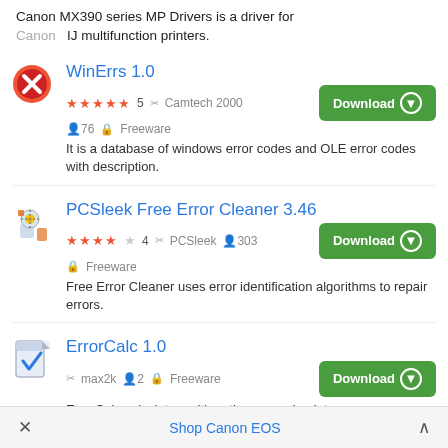Canon MX390 series MP Drivers is a driver for Canon IJ multifunction printers.
WinErrs 1.0 — ★★★★★ 5 · Camtech 2000 · 76 users · Freeware — It is a database of windows error codes and OLE error codes with description.
PCSleek Free Error Cleaner 3.46 — ★★★★☆ 4 · PCSleek · 303 users · Freeware — Free Error Cleaner uses error identification algorithms to repair errors.
ErrorCalc 1.0 — max2k · 2 users · Freeware — ErrorCalc calculates arithmetic mean, absolute error, relative error.
× Shop Canon EOS ^